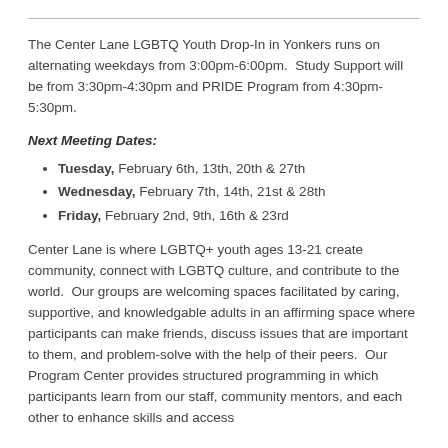The Center Lane LGBTQ Youth Drop-In in Yonkers runs on alternating weekdays from 3:00pm-6:00pm.  Study Support will be from 3:30pm-4:30pm and PRIDE Program from 4:30pm-5:30pm.
Next Meeting Dates:
Tuesday, February 6th, 13th, 20th & 27th
Wednesday, February 7th, 14th, 21st & 28th
Friday, February 2nd, 9th, 16th & 23rd
Center Lane is where LGBTQ+ youth ages 13-21 create community, connect with LGBTQ culture, and contribute to the world.  Our groups are welcoming spaces facilitated by caring, supportive, and knowledgable adults in an affirming space where participants can make friends, discuss issues that are important to them, and problem-solve with the help of their peers.  Our Program Center provides structured programming in which participants learn from our staff, community mentors, and each other to enhance skills and access